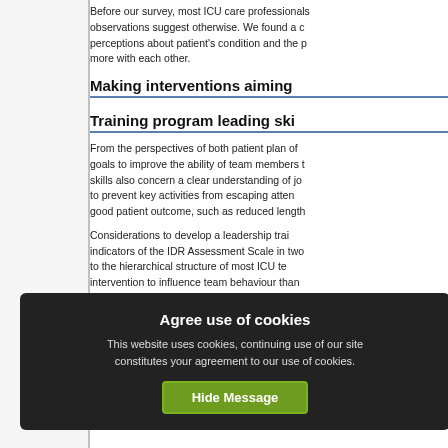Before our survey, most ICU care professionals... observations suggest otherwise. We found a c... perceptions about patient's condition and the p... more with each other.
Making interventions aiming
Training program leading ski
From the perspectives of both patient plan of... goals to improve the ability of team members t... skills also concern a clear understanding of jo... to prevent key activities from escaping atten... good patient outcome, such as reduced length...
Considerations to develop a leadership trai... indicators of the IDR Assessment Scale in two... to the hierarchical structure of most ICU te... intervention to influence team behaviour than... behaviour is an o... mised interventions... given in a simul... ensivists who ha... indicators of the IDR Assessment Scale were
Agree use of cookies
This website uses cookies, continuing use of our site constitutes your agreement to our use of cookies.
Hide Message